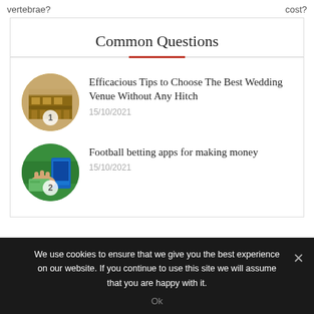vertebrae?   cost?
Common Questions
Efficacious Tips to Choose The Best Wedding Venue Without Any Hitch
15/10/2021
Football betting apps for making money
15/10/2021
We use cookies to ensure that we give you the best experience on our website. If you continue to use this site we will assume that you are happy with it.
Ok